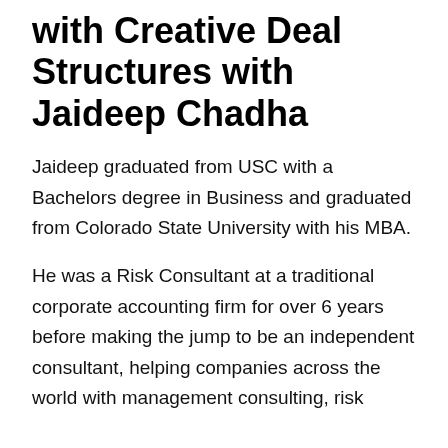with Creative Deal Structures with Jaideep Chadha
Jaideep graduated from USC with a Bachelors degree in Business and graduated from Colorado State University with his MBA.
He was a Risk Consultant at a traditional corporate accounting firm for over 6 years before making the jump to be an independent consultant, helping companies across the world with management consulting, risk